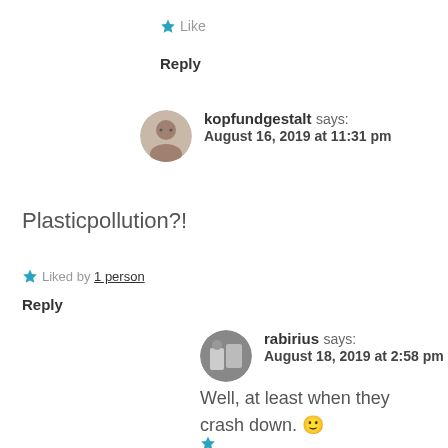★ Like
Reply
kopfundgestalt says: August 16, 2019 at 11:31 pm
Plasticpollution?!
★ Liked by 1 person
Reply
rabirius says: August 18, 2019 at 2:58 pm
Well, at least when they crash down. 🙂
★ Liked by...